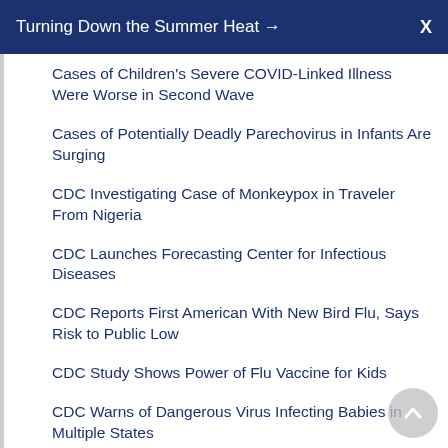Turning Down the Summer Heat →
Cases of Children's Severe COVID-Linked Illness Were Worse in Second Wave
Cases of Potentially Deadly Parechovirus in Infants Are Surging
CDC Investigating Case of Monkeypox in Traveler From Nigeria
CDC Launches Forecasting Center for Infectious Diseases
CDC Reports First American With New Bird Flu, Says Risk to Public Low
CDC Study Shows Power of Flu Vaccine for Kids
CDC Warns of Dangerous Virus Infecting Babies in Multiple States
Celebrate Autumn Traditions Without Raising Your COVID